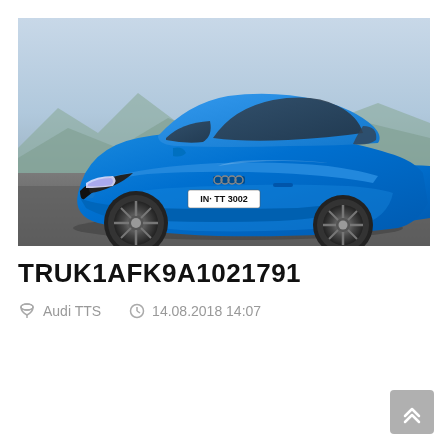[Figure (photo): Blue Audi TTS sports car photographed from front-left angle on a grey surface with mountainous background. License plate reads IN TT 3002.]
TRUK1AFK9A1021791
Audi TTS   14.08.2018 14:07